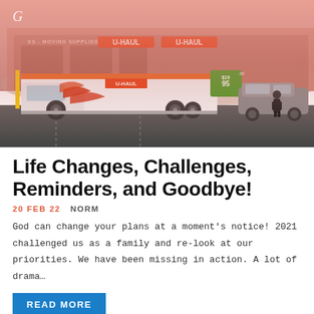[Figure (photo): Photograph of a U-Haul truck in a parking lot in front of a U-Haul store. The truck has red flame/swoosh graphics on a white body. A dark SUV and a person are visible on the right. The background building shows 'ES - MOVING SUPPLIES' and 'U-HAUL U-HAUL' signage. A pink/salmon tinted overlay covers the top portion.]
Life Changes, Challenges, Reminders, and Goodbye!
20 FEB 22   NORM
God can change your plans at a moment's notice! 2021 challenged us as a family and re-look at our priorities. We have been missing in action. A lot of drama...
READ MORE